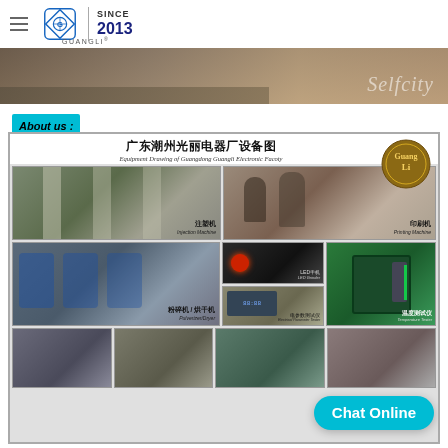GUANGLI — SINCE 2013
[Figure (photo): Banner image showing interior of a room/salon with the text 'selfcity' in cursive]
About us :
[Figure (infographic): Equipment Drawing of Guangdong Guangli Electronic Factory (广东潮州光丽电器厂设备图) showing photos of Injection Machine (注塑机), Printing Machine (印刷机), Pulverizer/Dryer (粉碎机/烘干机), LED Grinder, Temperature Tester (温度测试仪), Electrical Parameter Tester (电参数测试仪), and other factory equipment]
Chat Online